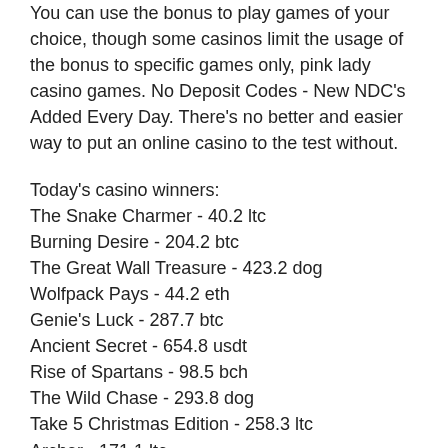You can use the bonus to play games of your choice, though some casinos limit the usage of the bonus to specific games only, pink lady casino games. No Deposit Codes - New NDC's Added Every Day. There's no better and easier way to put an online casino to the test without.
Today's casino winners:
The Snake Charmer - 40.2 ltc
Burning Desire - 204.2 btc
The Great Wall Treasure - 423.2 dog
Wolfpack Pays - 44.2 eth
Genie's Luck - 287.7 btc
Ancient Secret - 654.8 usdt
Rise of Spartans - 98.5 bch
The Wild Chase - 293.8 dog
Take 5 Christmas Edition - 258.3 ltc
Archer - 171.1 ltc
Unicorn Legend - 306.9 eth
Ragin Buffalo - 355.6 usdt
Bikini Party - 372.7 usdt